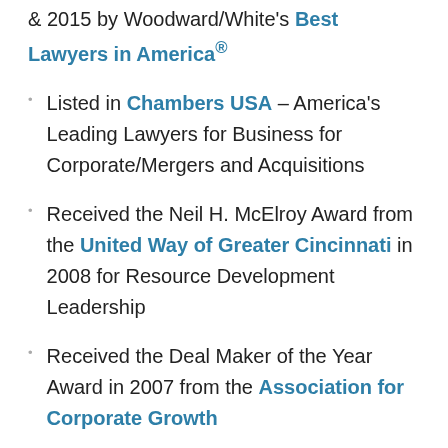& 2015 by Woodward/White's Best Lawyers in America®
Listed in Chambers USA – America's Leading Lawyers for Business for Corporate/Mergers and Acquisitions
Received the Neil H. McElroy Award from the United Way of Greater Cincinnati in 2008 for Resource Development Leadership
Received the Deal Maker of the Year Award in 2007 from the Association for Corporate Growth